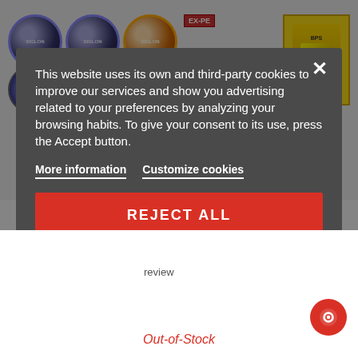[Figure (screenshot): Website screenshot showing cookie consent modal over a fishing products page. Background shows fishing line spools in blue, green, orange colors and a yellow product package. A dark semi-transparent modal with cookie notice, two link buttons (More information, Customize cookies), and two red action buttons (REJECT ALL, I ACCEPT) with an X close button. Bottom shows 'review' text, 'Out-of-Stock' in red, and a red chat icon.]
This website uses its own and third-party cookies to improve our services and show you advertising related to your preferences by analyzing your browsing habits. To give your consent to its use, press the Accept button.
More information
Customize cookies
REJECT ALL
I ACCEPT
review
Out-of-Stock